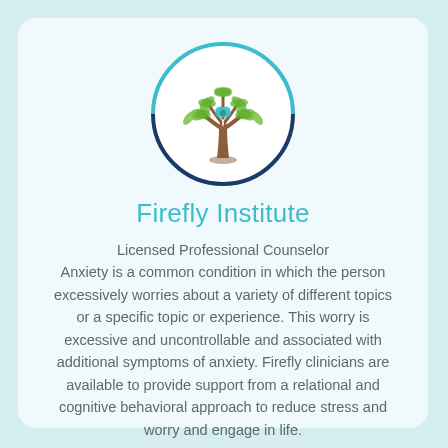[Figure (logo): Firefly Institute logo: a stylized tree with green butterfly/dragonfly shapes as leaves and a small green dragonfly in the center, brown trunk, inside a dark blue and teal circle border]
Firefly Institute
Licensed Professional Counselor
Anxiety is a common condition in which the person excessively worries about a variety of different topics or a specific topic or experience. This worry is excessive and uncontrollable and associated with additional symptoms of anxiety. Firefly clinicians are available to provide support from a relational and cognitive behavioral approach to reduce stress and worry and engage in life.